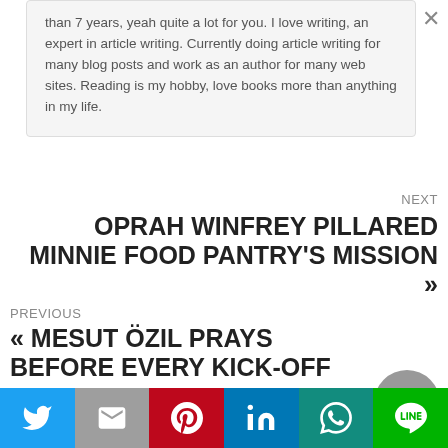than 7 years, yeah quite a lot for you. I love writing, an expert in article writing. Currently doing article writing for many blog posts and work as an author for many web sites. Reading is my hobby, love books more than anything in my life.
NEXT
OPRAH WINFREY PILLARED Minnie FOOD PANTRY'S MISSION »
PREVIOUS
« MESUT Özil PRAYS BEFORE EVERY KICK-OFF